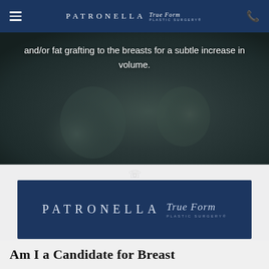PATRONELLA True Form PLASTIC SURGERY
[Figure (photo): Dark monochrome close-up photo of a woman's torso/breast area with white overlay text]
and/or fat grafting to the breasts for a subtle increase in volume.
[Figure (logo): Patronella True Form Plastic Surgery logo on dark navy blue banner background]
Am I a Candidate for Breast